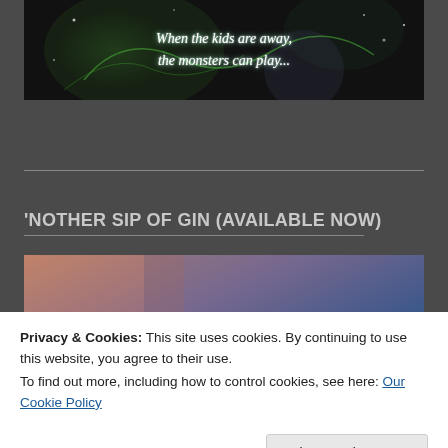[Figure (illustration): Dark book cover image with glowing green tendrils and sparkles on black background. Italic white text reads: 'When the kids are away, the monsters can play...']
'NOTHER SIP OF GIN (AVAILABLE NOW)
[Figure (illustration): Book cover image showing a torso in jeans with text 'A SINNERS GIN COLLECTION OF FOUR NEW STORIES' overlaid in bold white uppercase letters.]
Privacy & Cookies: This site uses cookies. By continuing to use this website, you agree to their use. To find out more, including how to control cookies, see here: Our Cookie Policy
Close and accept